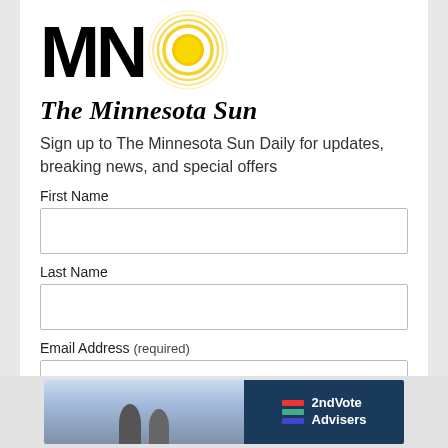[Figure (logo): The Minnesota Sun logo: bold black MN letters with a yellow sun icon, and 'The Minnesota Sun' text below]
Sign up to The Minnesota Sun Daily for updates, breaking news, and special offers
First Name
Last Name
Email Address (required)
[Figure (illustration): Advertisement banner: left side shows two figures against a sky background, right side shows dark blue panel with '2ndVote Advisers' logo and colored bars]